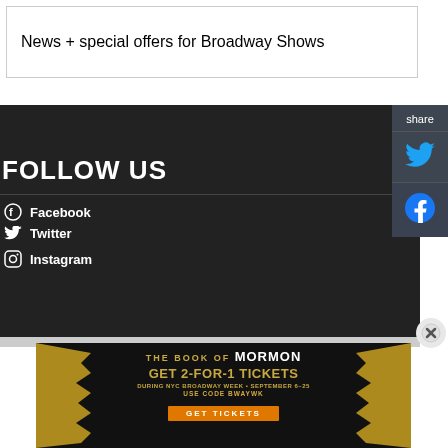News + special offers for Broadway Shows
FOLLOW US
Facebook
Twitter
Instagram
share
[Figure (screenshot): Share panel with Twitter bird icon and Facebook icon]
[Figure (infographic): The Book of Mormon advertisement: GET 2-FOR-1 TICKETS DURING NYC BROADWAY WEEK • SEPTEMBER 6–25 USE CODE BWAYWK GET TICKETS]